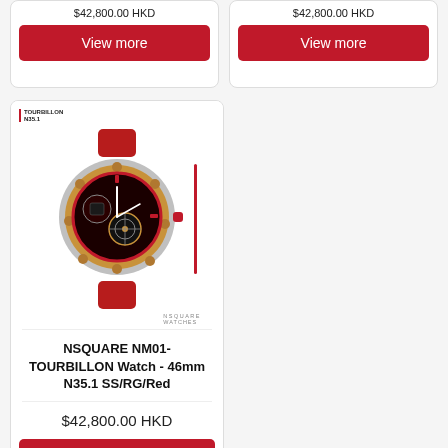$42,800.00 HKD
View more
$42,800.00 HKD
View more
[Figure (photo): NSQUARE NM01-TOURBILLON watch with red leather strap, rose gold and steel case, skeleton dial with tourbillon, red accents. Brand logo top left. NSQUARE WATCHES label bottom right. Red vertical divider bar on right side of image.]
NSQUARE NM01-TOURBILLON Watch - 46mm N35.1 SS/RG/Red
$42,800.00 HKD
View more